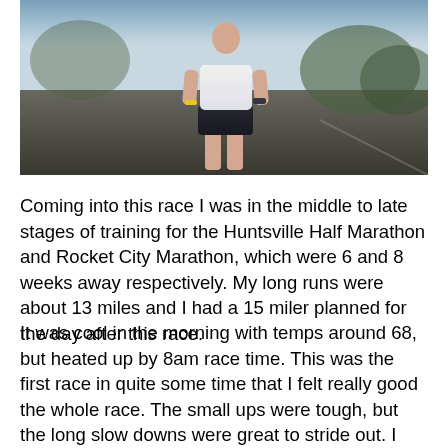[Figure (photo): Photo of a runner (torso and legs visible) wearing a white top and black shorts, standing outdoors on pavement with trees in the background]
Coming into this race I was in the middle to late stages of training for the Huntsville Half Marathon and Rocket City Marathon, which were 6 and 8 weeks away respectively. My long runs were about 13 miles and I had a 15 miler planned for the day after this race.
It was cool in the morning with temps around 68, but heated up by 8am race time. This was the first race in quite some time that I felt really good the whole race. The small ups were tough, but the long slow downs were great to stride out. I lead Joe Francica the whole way and held him off at the end, with a win by 4 seconds. With a flat course, I think that I had sub 18 in my legs. I finished 8th overall and 2nd in m30-24 of 558 total runners with a time of 18:10.
Not a bad performance considering the top 7 included